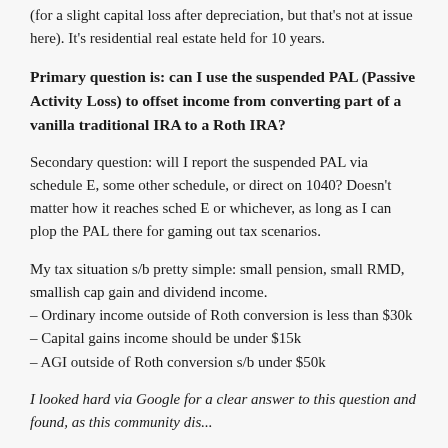(for a slight capital loss after depreciation, but that's not at issue here). It's residential real estate held for 10 years.
Primary question is: can I use the suspended PAL (Passive Activity Loss) to offset income from converting part of a vanilla traditional IRA to a Roth IRA?
Secondary question: will I report the suspended PAL via schedule E, some other schedule, or direct on 1040? Doesn't matter how it reaches sched E or whichever, as long as I can plop the PAL there for gaming out tax scenarios.
My tax situation s/b pretty simple: small pension, small RMD, smallish cap gain and dividend income.
– Ordinary income outside of Roth conversion is less than $30k
– Capital gains income should be under $15k
– AGI outside of Roth conversion s/b under $50k
I looked hard via Google for a clear answer to this question and found, as this community does the...